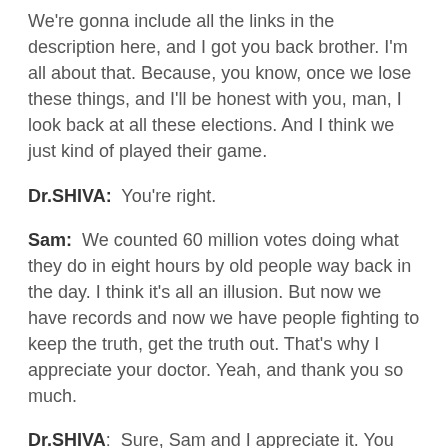We're gonna include all the links in the description here, and I got you back brother. I'm all about that. Because, you know, once we lose these things, and I'll be honest with you, man, I look back at all these elections. And I think we just kind of played their game.
Dr.SHIVA:  You're right.
Sam:  We counted 60 million votes doing what they do in eight hours by old people way back in the day. I think it's all an illusion. But now we have records and now we have people fighting to keep the truth, get the truth out. That's why I appreciate your doctor. Yeah, and thank you so much.
Dr.SHIVA:  Sure, Sam and I appreciate it. You know, we haven't spoken for a while. I appreciate this conversation. I think your audience is a wonderful